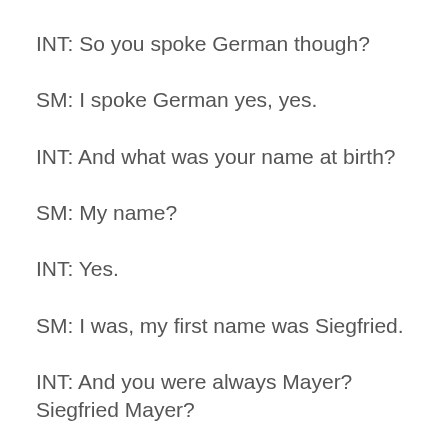INT: So you spoke German though?
SM: I spoke German yes, yes.
INT: And what was your name at birth?
SM: My name?
INT: Yes.
SM: I was, my first name was Siegfried.
INT: And you were always Mayer? Siegfried Mayer?